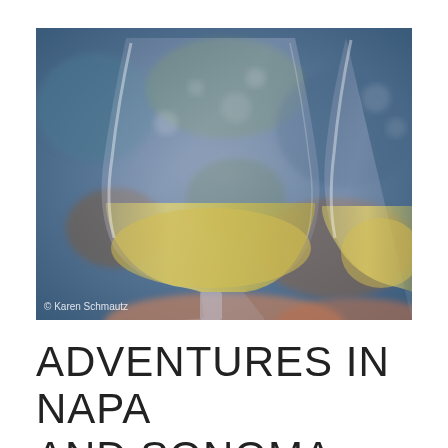[Figure (photo): Close-up photograph of two wine glasses filled with white/golden wine, with a blurred colorful background. A watermark reads '© Karen Schmautz' in the bottom-left corner.]
ADVENTURES IN NAPA AND SONOMA, DAY 2